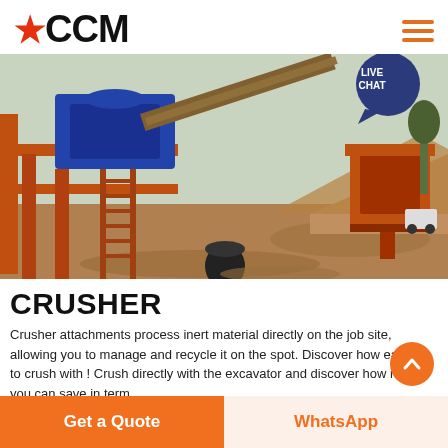CCM (logo with hamburger menu)
[Figure (photo): Industrial crusher/quarry equipment on a muddy job site with orange machinery, conveyor belts, and piles of stone aggregate. A 'LIVE CHAT' speech bubble badge is overlaid in the top right.]
CRUSHER
Crusher attachments process inert material directly on the job site, allowing you to manage and recycle it on the spot. Discover how easy it's to crush with ! Crush directly with the excavator and discover how much you can save in term
Get a Quote
WhatsApp